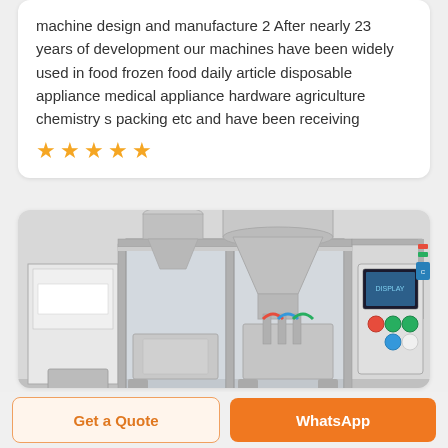machine design and manufacture 2 After nearly 23 years of development our machines have been widely used in food frozen food daily article disposable appliance medical appliance hardware agriculture chemistry s packing etc and have been receiving
[Figure (other): Five orange star rating icons]
[Figure (photo): Industrial packaging machine with stainless steel hopper funnel, glass-enclosed frame structure, mechanical components, and control panel on the right side]
Get a Quote
WhatsApp